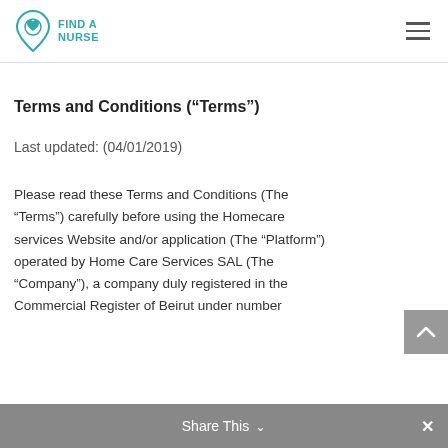FIND A NURSE
Terms and Conditions (“Terms”)
Last updated: (04/01/2019)
Please read these Terms and Conditions (The “Terms”) carefully before using the Homecare services Website and/or application (The “Platform”) operated by Home Care Services SAL (The “Company”), a company duly registered in the Commercial Register of Beirut under number